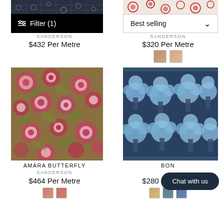[Figure (screenshot): E-commerce product listing page showing fabric/wallpaper products from Sanderson brand with filter and sort controls]
Filter (1)
Best selling
SANDERSON
$432 Per Metre
SANDERSON
$320 Per Metre
[Figure (photo): Floral fabric pattern - Amara Butterfly by Sanderson, colorful red and green botanical print]
[Figure (photo): Blue tree/botanical fabric pattern by Sanderson]
AMARA BUTTERFLY
SANDERSON
$464 Per Metre
BON...
$280 Per Metre
Chat with us